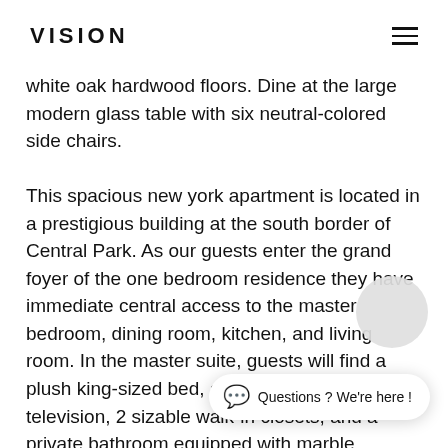VISION
white oak hardwood floors. Dine at the large modern glass table with six neutral-colored side chairs.
This spacious new york apartment is located in a prestigious building at the south border of Central Park. As our guests enter the grand foyer of the one bedroom residence they have immediate central access to the master bedroom, dining room, kitchen, and living room. In the master suite, guests will find a plush king-sized bed, a 40 in HD flat screen television, 2 sizable walk-in closets, and a private bathroom equipped with marble flooring and heat lamps.
The Central Park residence houses newly refurbished white oak hardwood floors that truly complement the architecture and furnishings...
an unparalleled panoramic view of picturesque Central